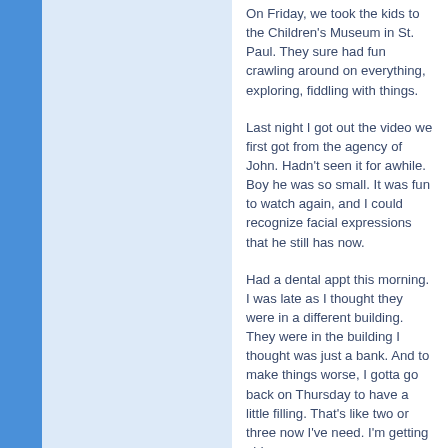On Friday, we took the kids to the Children's Museum in St. Paul. They sure had fun crawling around on everything, exploring, fiddling with things.
Last night I got out the video we first got from the agency of John. Hadn't seen it for awhile. Boy he was so small. It was fun to watch again, and I could recognize facial expressions that he still has now.
Had a dental appt this morning. I was late as I thought they were in a different building. They were in the building I thought was just a bank. And to make things worse, I gotta go back on Thursday to have a little filling. That's like two or three now I've need. I'm getting old